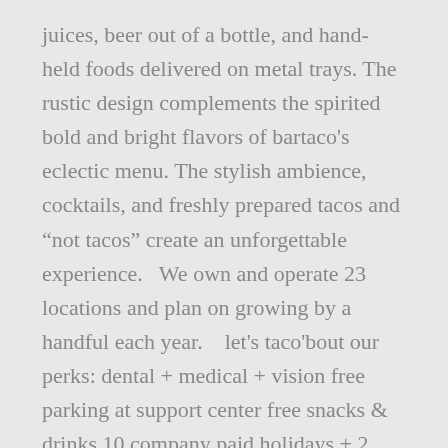juices, beer out of a bottle, and hand-held foods delivered on metal trays. The rustic design complements the spirited bold and bright flavors of bartaco's eclectic menu. The stylish ambience, cocktails, and freshly prepared tacos and "not tacos" create an unforgettable experience.   We own and operate 23 locations and plan on growing by a handful each year.   let's taco'bout our perks: dental + medical + vision free parking at support center free snacks & drinks 10 company paid holidays + 2 weeks of pto 50% off employee dining discount career growth opportunities bartaco family fund (company scholarship fund) health savings account with company match flexible spending account employee assistance program